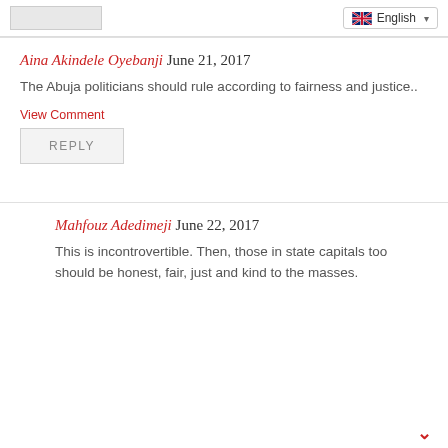[logo] English ▾
Aina Akindele Oyebanji June 21, 2017
The Abuja politicians should rule according to fairness and justice..
View Comment
REPLY
Mahfouz Adedimeji June 22, 2017
This is incontrovertible. Then, those in state capitals too should be honest, fair, just and kind to the masses.